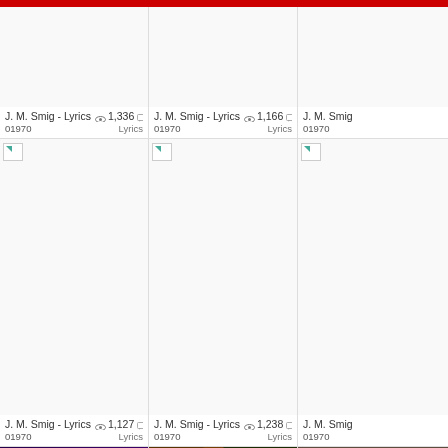[Figure (screenshot): Grid of video/music content cards showing J. M. Smig - Lyrics and J. M. Smig - Co... thumbnails with view counts]
J. M. Smig - Lyrics 👁 1,336 💬 0 | 01970 | Lyrics
J. M. Smig - Lyrics 👁 1,166 💬 0 | 01970 | Lyrics
J. M. Smig
J. M. Smig - Lyrics 👁 1,127 💬 0 | 01970 | Lyrics
J. M. Smig - Lyrics 👁 1,238 💬 0 | 01970 | Lyrics
J. M. Smig
J. M. Smig - Co... 👁 1,402 💬 0 | 01970
J. M. Smig - Co... 👁 1,722 💬 2 | 01970
J. M. Smig